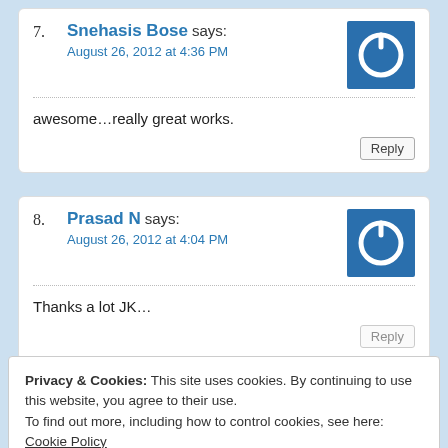7. Snehasis Bose says: August 26, 2012 at 4:36 PM
awesome...really great works.
Reply
8. Prasad N says: August 26, 2012 at 4:04 PM
Thanks a lot JK…
Reply
Privacy & Cookies: This site uses cookies. By continuing to use this website, you agree to their use.
To find out more, including how to control cookies, see here: Cookie Policy
Close and accept
looking forward for such amazing snaps from